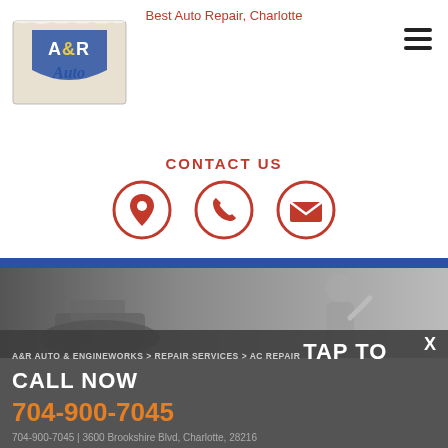Best Auto Repair, Charlotte
[Figure (logo): A&R Auto logo with blue shield/crest design and stylized text]
[Figure (other): Hamburger menu icon (three horizontal lines)]
CONTACT US
[Figure (infographic): Three circular red icons: location pin, phone, and envelope/email]
[Figure (photo): Grayscale hero photo of a mechanic working on a car]
A&R AUTO & ENGINEWORKS > REPAIR SERVICES > AC REPAIR
TAP TO CALL NOW
704-900-7045
704-900-7045 | 3600 Brookshire Blvd, Charlotte, 28216
Air Conditioning